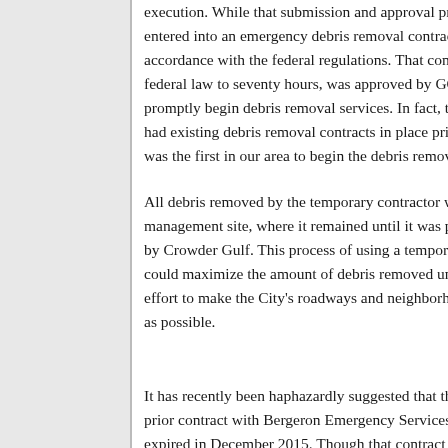A representative to ensure that all steps were properly followed during execution. While that submission and approval process was underway, the City entered into an emergency debris removal contract with a temporary contractor in accordance with the federal regulations. That contract, which is limited by federal law to seventy hours, was approved by GOHSEP to allow the City to promptly begin debris removal services. In fact, though several other parishes had existing debris removal contracts in place prior to the storm, the City was the first in our area to begin the debris removal st...
All debris removed by the temporary contractor was taken to a temporary management site, where it remained until it was permanently disposed of by Crowder Gulf. This process of using a temporary site for storage so we could maximize the amount of debris removed under the temporary contract in an effort to make the City's roadways and neighborhoods as safe and clear as possible.
It has recently been haphazardly suggested that the City should have used a prior contract with Bergeron Emergency Services for debris removal that expired in December 2015. Though that contract was signed by "Mayor Mac Watts" on June 24, 2014, former Mayor Mac Watts confirmed he did not actually sign that contract and did not give permission...